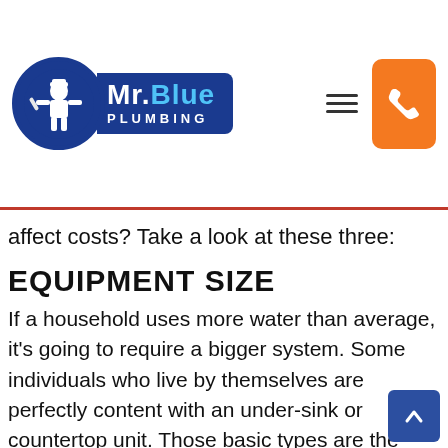[Figure (logo): Mr. Blue Plumbing logo with circular plumber icon in blue and white, blue banner with 'Mr.Blue PLUMBING' text, orange phone button, and hamburger menu icon]
affect costs? Take a look at these three:
EQUIPMENT SIZE
If a household uses more water than average, it's going to require a bigger system. Some individuals who live by themselves are perfectly content with an under-sink or countertop unit. Those basic types are the easiest to install and also the cheapest.